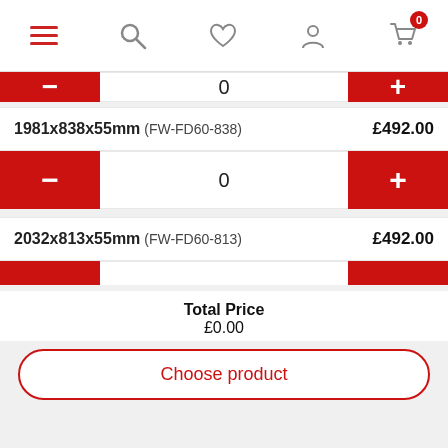Navigation bar with hamburger menu, search, heart/wishlist, account, and cart (0) icons
Quantity control row: minus button, 0, plus button
1981x838x55mm (FW-FD60-838) £492.00
Quantity control row: minus button, 0, plus button
2032x813x55mm (FW-FD60-813) £492.00
Quantity control row (partial)
Total Price £0.00
Choose product